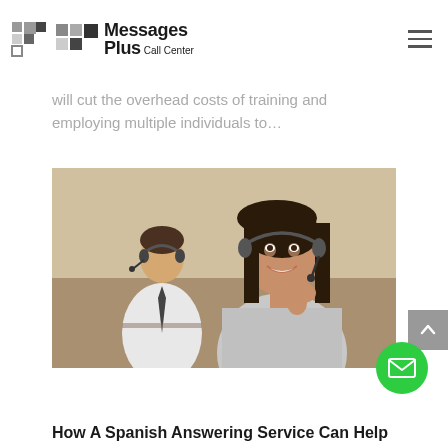Messages Plus Call Center
will cut the overhead costs of training and employing multiple individuals to…
[Figure (photo): Two call center agents wearing headsets; a smiling woman in the foreground and a man working in the background]
How A Spanish Answering Service Can Help